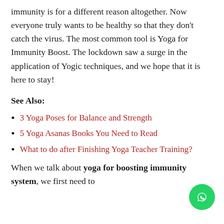immunity is for a different reason altogether. Now everyone truly wants to be healthy so that they don't catch the virus. The most common tool is Yoga for Immunity Boost. The lockdown saw a surge in the application of Yogic techniques, and we hope that it is here to stay!
See Also:
3 Yoga Poses for Balance and Strength
5 Yoga Asanas Books You Need to Read
What to do after Finishing Yoga Teacher Training?
When we talk about yoga for boosting immunity system, we first need to